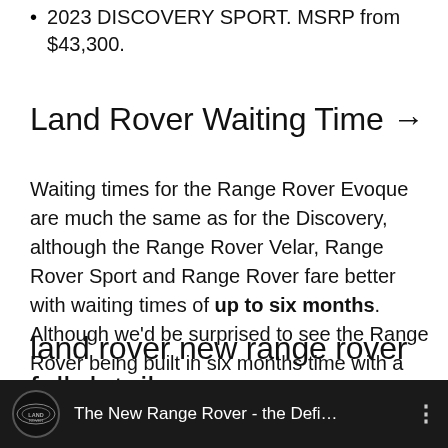2023 DISCOVERY SPORT. MSRP from $43,300.
Land Rover Waiting Time →
Waiting times for the Range Rover Evoque are much the same as for the Discovery, although the Range Rover Velar, Range Rover Sport and Range Rover fare better with waiting times of up to six months. Although we'd be surprised to see the Range Rover being built in six months time with a new Range Rover on the horizon.
land rover new range rover full detail →
[Figure (screenshot): Video thumbnail showing black background with Land Rover logo and text 'The New Range Rover - the Defi...' with three-dot menu icon]